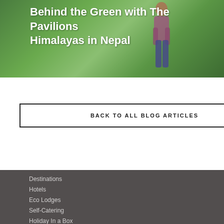[Figure (photo): A person standing in lush green tall grass/field, partially visible, wearing a colorful top. Overlaid with white text title about The Pavilions Himalayas in Nepal.]
Behind the Green with The Pavilions Himalayas in Nepal
BACK TO ALL BLOG ARTICLES
Destinations
Hotels
Eco Lodges
Self-Catering
Holiday In a Box
About Us
Leaf rating
Our Blog